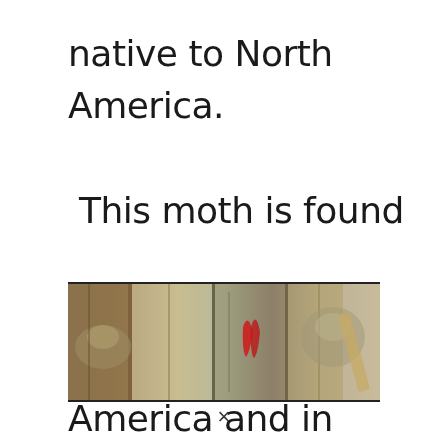native to North America. This moth is found throughout North America and in Canada.
[Figure (photo): A wide panoramic photograph showing moths resting on bark and wood, with one red-colored element visible among brown and gray textured surfaces.]
×